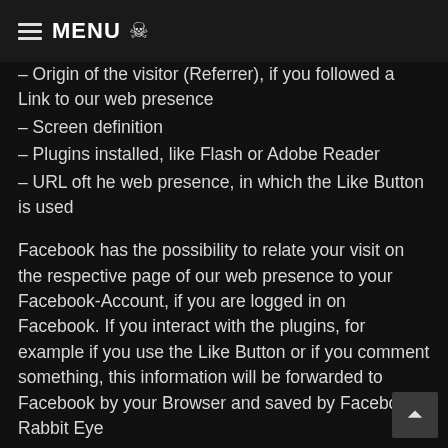MENU 💀
– Origin of the visitor (Referrer), if you followed a Link to our web presence
– Screen definition
– Plugins installed, like Flash or Adobe Reader
– URL oft he web presence, in which the Like Button is used
Facebook has the possibility to relate your visit on the respective page of our web presence to your Facebook-Account, if you are logged in on Facebook. If you interact with the plugins, for example if you use the Like Button or if you comment something, this information will be forwarded to Facebook by your Browser and saved by Facebook. Rabbit Eye